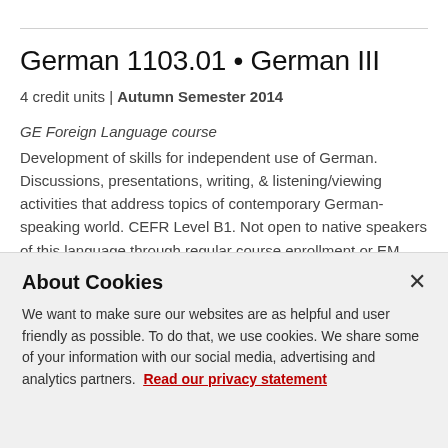German 1103.01 • German III
4 credit units | Autumn Semester 2014
GE Foreign Language course
Development of skills for independent use of German. Discussions, presentations, writing, & listening/viewing activities that address topics of contemporary German-speaking world. CEFR Level B1. Not open to native speakers of this language through regular course enrollment or EM credit.
Prereq: 1102.01, or 4 sem or hrs of 1102.51, or 1266
About Cookies
We want to make sure our websites are as helpful and user friendly as possible. To do that, we use cookies. We share some of your information with our social media, advertising and analytics partners. Read our privacy statement